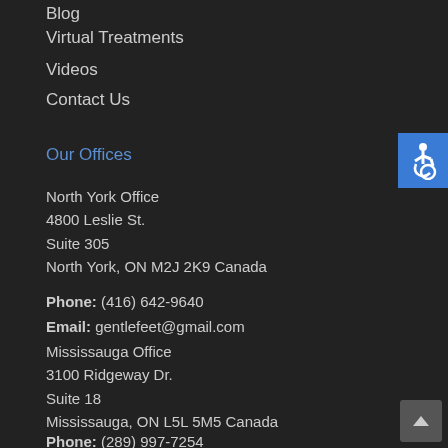Blog
Virtual Treatments
Videos
Contact Us
Our Offices
North York Office
4800 Leslie St.
Suite 305
North York, ON M2J 2K9 Canada
Phone: (416) 642-9640
Email: gentlefeet@gmail.com
Mississauga Office
3100 Ridgeway Dr.
Suite 18
Mississauga, ON L5L 5M5 Canada
Phone: (289) 997-7254
Email: cfcct@rogers.com